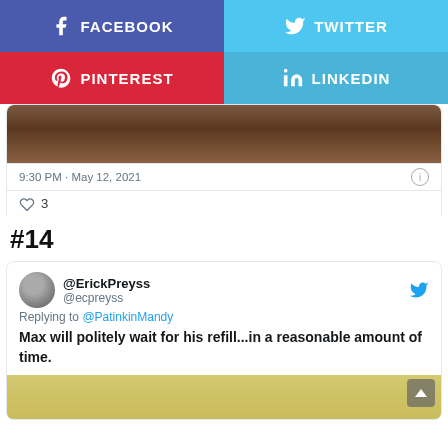[Figure (infographic): Social share buttons: Facebook (purple-blue), Twitter (light blue), Pinterest (red), LinkedIn (blue)]
[Figure (photo): Partial image showing skin/close-up texture, brownish tones]
9:30 PM · May 12, 2021
3 likes
#14
@ErickPreyss @ecpreyss
Replying to @PatinkinMandy
Max will politely wait for his refill...in a reasonable amount of time.
[Figure (photo): Bottom portion of tweet showing a yellowish/gold colored image, partially visible]